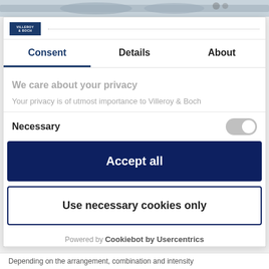[Figure (screenshot): Top image strip showing partial product/lifestyle photo in grey tones]
[Figure (logo): Villeroy & Boch logo in dark blue rectangle]
Consent | Details | About
We care about your privacy
Your privacy is of utmost importance to Villeroy & Boch
Necessary
Accept all
Use necessary cookies only
Powered by Cookiebot by Usercentrics
Depending on the arrangement, combination and intensity